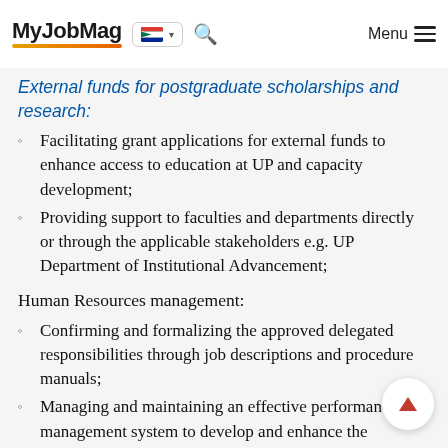MyJobMag [South Africa flag] [Search] Menu
External funds for postgraduate scholarships and research:
Facilitating grant applications for external funds to enhance access to education at UP and capacity development;
Providing support to faculties and departments directly or through the applicable stakeholders e.g. UP Department of Institutional Advancement;
Human Resources management:
Confirming and formalizing the approved delegated responsibilities through job descriptions and procedure manuals;
Managing and maintaining an effective performance management system to develop and enhance the performance of individuals, teams and the division;
Attending to grievances according to prescribed Grievance Procedure guidelines;